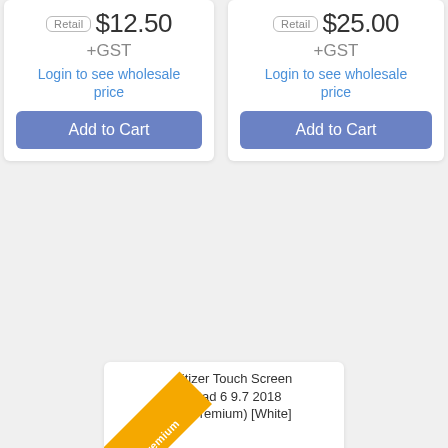Retail $12.50 +GST
Login to see wholesale price
Add to Cart
Retail $25.00 +GST
Login to see wholesale price
Add to Cart
[Figure (other): EPH Premium diagonal ribbon badge on product card]
Digitizer Touch Screen for iPad 6 9.7 2018 (EPH Premium) [White]
Retail $29.00 +GST
Login to see wholesale price
Add to Cart